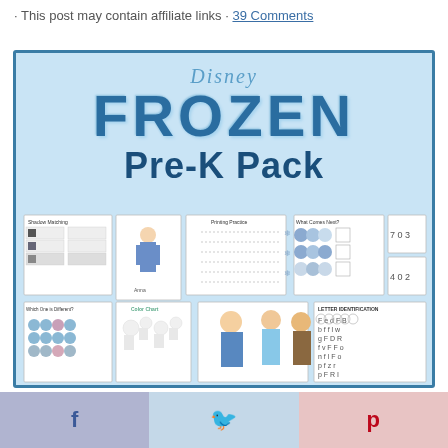· This post may contain affiliate links · 39 Comments
[Figure (illustration): Disney Frozen Pre-K Pack promotional image showing the Disney Frozen logo with 'Pre-K Pack' text and sample worksheet pages including Shadow Matching, Printing Practice, What Comes Next, Which One is Different, Color Chart, Letter Identification, and character coloring pages featuring Anna, Elsa, Kristoff, Olaf, and Sven from Frozen]
f  [share]  [tweet]  p  [pin]